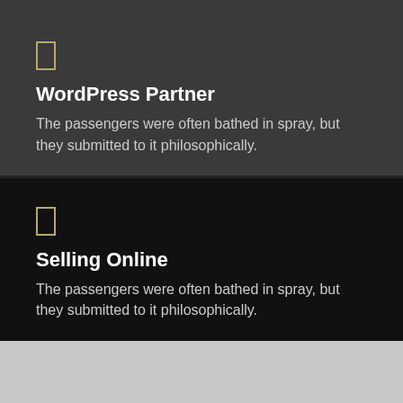[Figure (screenshot): Mobile app UI screenshot showing two dark-themed list cards. Top card on dark gray background with a bordered icon box, title 'WordPress Partner', and descriptive text. Bottom card on black background with a bordered icon box, title 'Selling Online', and descriptive text.]
WordPress Partner
The passengers were often bathed in spray, but they submitted to it philosophically.
Selling Online
The passengers were often bathed in spray, but they submitted to it philosophically.